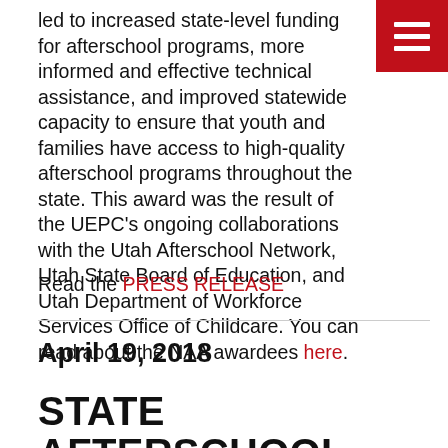led to increased state-level funding for afterschool programs, more informed and effective technical assistance, and improved statewide capacity to ensure that youth and families have access to high-quality afterschool programs throughout the state. This award was the result of the UEPC's ongoing collaborations with the Utah Afterschool Network, Utah State Board of Education, and Utah Department of Workforce Services Office of Childcare. You can read about the NAA awardees here.
Read the PRESS RELEASE
April 19, 2018
STATE AFTERSCHOOL PROGRAM MAKES A